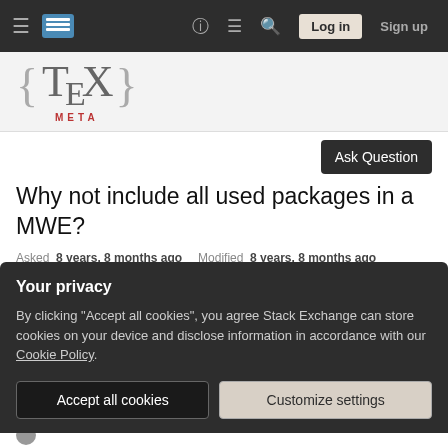Navigation bar: hamburger menu, TeX Meta logo, help icon, chat icon, search icon, Log in button, Sign up button
[Figure (logo): TeX Meta site logo with curly braces and META in red]
Ask Question
Why not include all used packages in a MWE?
Asked 8 years, 8 months ago   Modified 8 years, 8 months ago
Viewed 238 times
Your privacy
By clicking "Accept all cookies", you agree Stack Exchange can store cookies on your device and disclose information in accordance with our Cookie Policy.
Accept all cookies   Customize settings